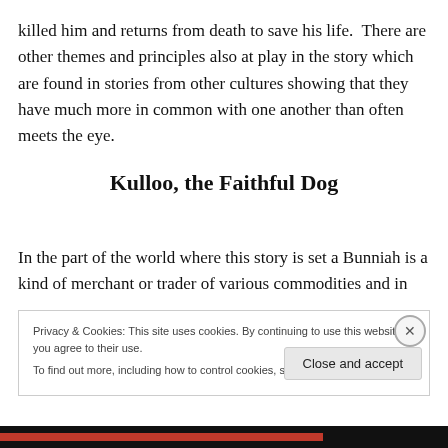killed him and returns from death to save his life.  There are other themes and principles also at play in the story which are found in stories from other cultures showing that they have much more in common with one another than often meets the eye.
Kulloo, the Faithful Dog
In the part of the world where this story is set a Bunniah is a kind of merchant or trader of various commodities and in
Privacy & Cookies: This site uses cookies. By continuing to use this website, you agree to their use.
To find out more, including how to control cookies, see here: Cookie Policy
Close and accept